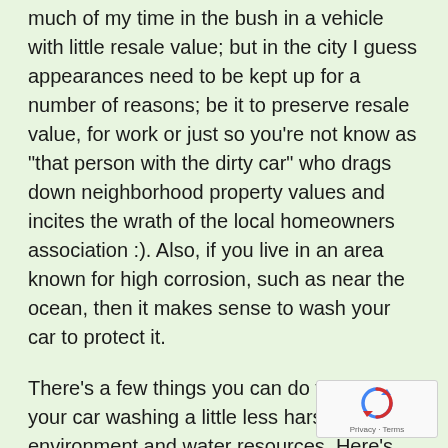That's probably only for my own situation, spending much of my time in the bush in a vehicle with little resale value; but in the city I guess appearances need to be kept up for a number of reasons; be it to preserve resale value, for work or just so you're not know as “that person with the dirty car” who drags down neighborhood property values and incites the wrath of the local homeowners association :). Also, if you live in an area known for high corrosion, such as near the ocean, then it makes sense to wash your car to protect it.
There’s a few things you can do to make your car washing a little less harsh on the environment and water resources. Here’s some tips:
[Figure (logo): reCAPTCHA badge with recycling arrow icon and Privacy - Terms text]